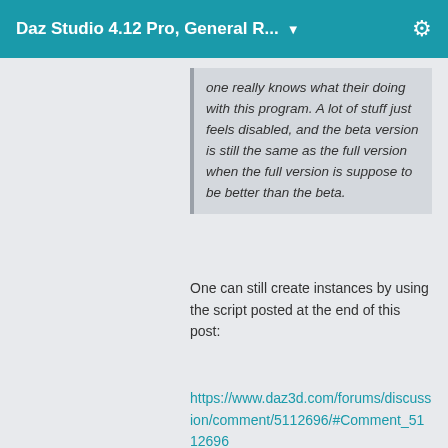Daz Studio 4.12 Pro, General R... ▼
one really knows what their doing with this program. A lot of stuff just feels disabled, and the beta version is still the same as the full version when the full version is suppose to be better than the beta.
One can still create instances by using the script posted at the end of this post:
https://www.daz3d.com/forums/discussion/comment/5112696/#Comment_5112696